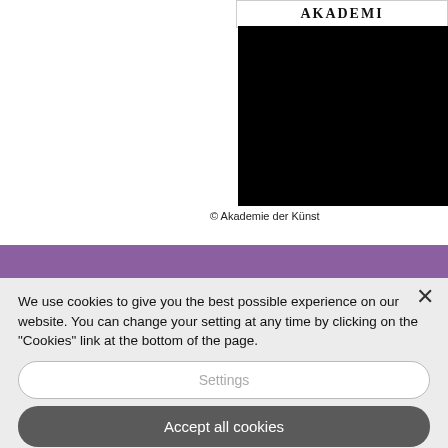[Figure (screenshot): Akademie der Künste website screenshot with logo header and black image block]
© Akademie der Künst
[Figure (screenshot): Purple navigation band from Akademie der Künste website]
We use cookies to give you the best possible experience on our website. You can change your setting at any time by clicking on the "Cookies" link at the bottom of the page.
Settings
Accept all cookies